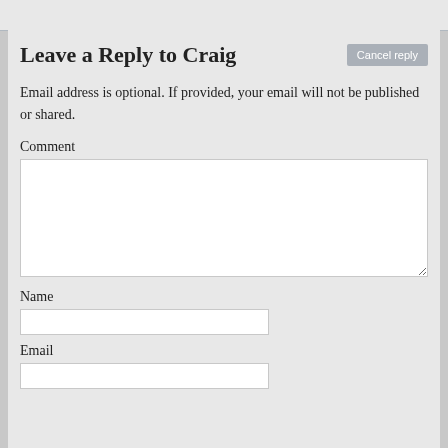Leave a Reply to Craig
Email address is optional. If provided, your email will not be published or shared.
Comment
Name
Email